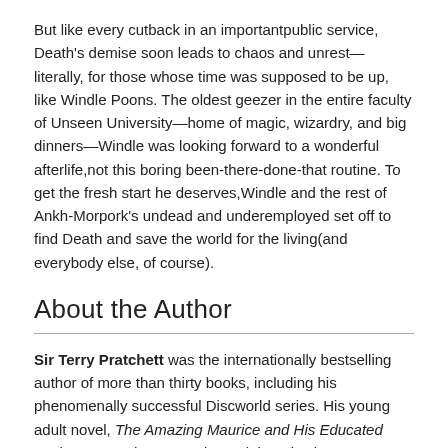But like every cutback in an importantpublic service, Death's demise soon leads to chaos and unrest—literally, for those whose time was supposed to be up, like Windle Poons. The oldest geezer in the entire faculty of Unseen University—home of magic, wizardry, and big dinners—Windle was looking forward to a wonderful afterlife,not this boring been-there-done-that routine. To get the fresh start he deserves,Windle and the rest of Ankh-Morpork's undead and underemployed set off to find Death and save the world for the living(and everybody else, of course).
About the Author
Sir Terry Pratchett was the internationally bestselling author of more than thirty books, including his phenomenally successful Discworld series. His young adult novel, The Amazing Maurice and His Educated Rodents, won the Carnegie Medal, and Where's My Cow?, his Discworld book for "readers of all ages," was a New York Times bestseller. His novels have sold more than